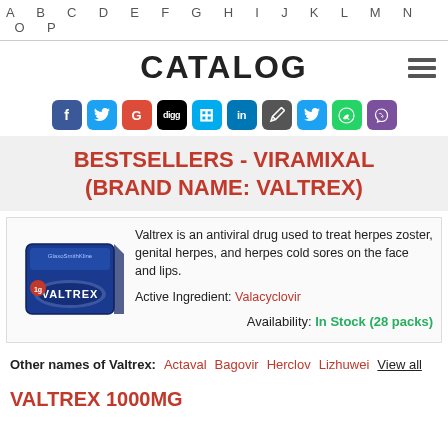A B C D E F G H I J K L M N O P
CATALOG
[Figure (infographic): Social media sharing icons: Facebook, Twitter, Google+, Digg, Share, LinkedIn, Pen, Bird, WhatsApp, Viber]
BESTSELLERS - VIRAMIXAL (BRAND NAME: VALTREX)
[Figure (photo): Blue box of Valtrex medication]
Valtrex is an antiviral drug used to treat herpes zoster, genital herpes, and herpes cold sores on the face and lips.
Active Ingredient: Valacyclovir
Availability: In Stock (28 packs)
Other names of Valtrex: Actaval  Bagovir  Herclov  Lizhuwei  View all
VALTREX 1000MG